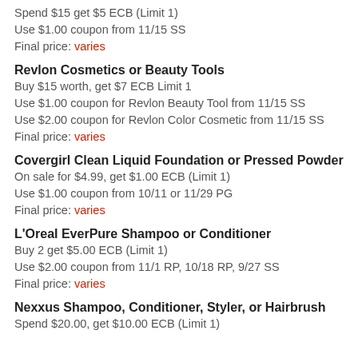Spend $15 get $5 ECB (Limit 1)
Use $1.00 coupon from 11/15 SS
Final price: varies
Revlon Cosmetics or Beauty Tools
Buy $15 worth, get $7 ECB Limit 1
Use $1.00 coupon for Revlon Beauty Tool from 11/15 SS
Use $2.00 coupon for Revlon Color Cosmetic from 11/15 SS
Final price: varies
Covergirl Clean Liquid Foundation or Pressed Powder
On sale for $4.99, get $1.00 ECB (Limit 1)
Use $1.00 coupon from 10/11 or 11/29 PG
Final price: varies
L'Oreal EverPure Shampoo or Conditioner
Buy 2 get $5.00 ECB (Limit 1)
Use $2.00 coupon from 11/1 RP, 10/18 RP, 9/27 SS
Final price: varies
Nexxus Shampoo, Conditioner, Styler, or Hairbrush
Spend $20.00, get $10.00 ECB (Limit 1)